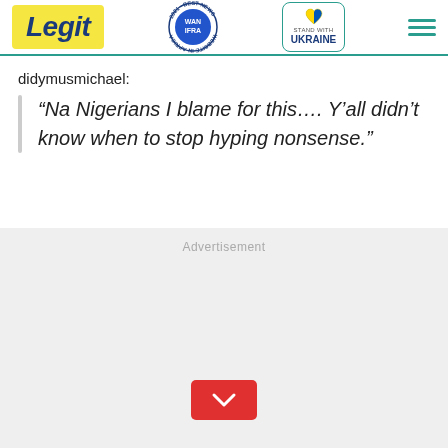Legit | WAN IFRA 2021 Best News Website in Africa | Stand with Ukraine
didymusmichael:
“Na Nigerians I blame for this…. Y’all didn’t know when to stop hyping nonsense.”
Advertisement